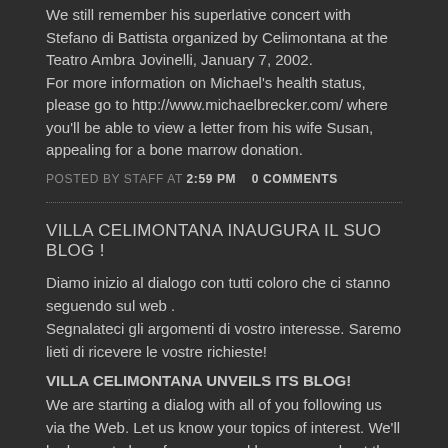We still remember his superlative concert with Stefano di Battista organized by Celimontana at the Teatro Ambra Jovinelli, January 7, 2002. For more information on Michael's health status, please go to http://www.michaelbrecker.com/ where you'll be able to view a letter from his wife Susan, appealing for a bone marrow donation.
POSTED BY STAFF AT 2:59 PM   0 COMMENTS
VILLA CELIMONTANA INAUGURA IL SUO BLOG !
Diamo inizio al dialogo con tutti coloro che ci stanno seguendo sul web . Segnalateci gli argomenti di vostro interesse. Saremo lieti di ricevere le vostre richieste!
VILLA CELIMONTANA UNVEILS ITS BLOG!
We are starting a dialog with all of you following us via the Web. Let us know your topics of interest. We'll be happy to hear from you and learn more about the topics you would like us to cover!
POSTED BY STAFF AT 2:37 PM   1 COMMENTS